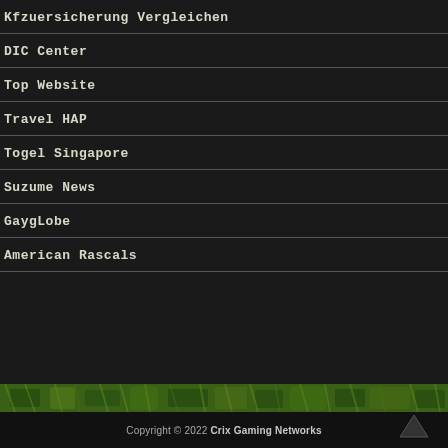Kfzuersicherung Vergleichen
DIC Center
Top Website
Travel HAP
Togel Singapore
Suzume News
GaygLobe
American Rascals
[Figure (photo): Green grass texture banner at bottom of page]
Copyright © 2022 Crix Gaming Networks